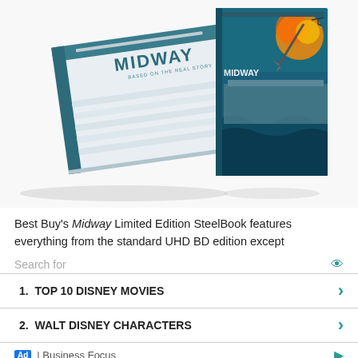[Figure (photo): Best Buy Midway Limited Edition SteelBook product photo showing two views: front cover lying flat displaying 'MIDWAY' title on white/blue steelbook case, and the standing steelbook with dramatic naval battle artwork showing aircraft carrier under attack]
Best Buy's Midway Limited Edition SteelBook features everything from the standard UHD BD edition except
Search for
1.  TOP 10 DISNEY MOVIES
2.  WALT DISNEY CHARACTERS
Ad | Business Focus